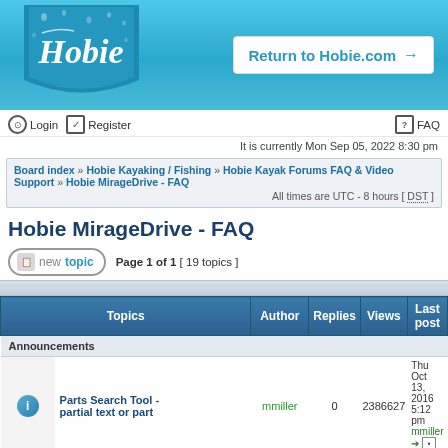[Figure (logo): Hobie brand logo with water droplet background, white cursive Hobie text on teal blue background]
Return to Hobie.com →
Login   Register   FAQ
It is currently Mon Sep 05, 2022 8:30 pm
Board index » Hobie Kayaking / Fishing » Hobie Kayak Forums FAQ & Video Support » Hobie MirageDrive - FAQ
All times are UTC - 8 hours [ DST ]
Hobie MirageDrive - FAQ
new topic   Page 1 of 1  [ 19 topics ]
| Topics | Author | Replies | Views | Last post |
| --- | --- | --- | --- | --- |
| Announcements |  |  |  |  |
| Parts Search Tool - partial text or part | mmiller | 0 | 2386627 | Thu Oct 13, 2016 5:12 pm
mmiller |